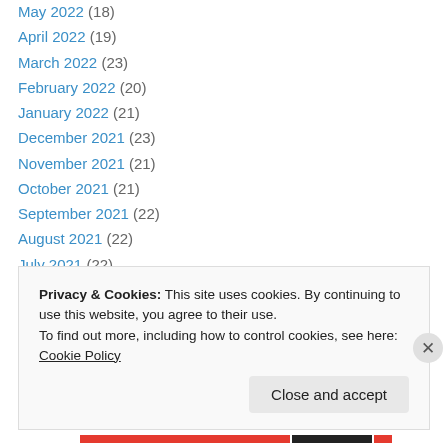May 2022 (18)
April 2022 (19)
March 2022 (23)
February 2022 (20)
January 2022 (21)
December 2021 (23)
November 2021 (21)
October 2021 (21)
September 2021 (22)
August 2021 (22)
July 2021 (22)
June 2021 (22)
May 2021 (21)
April 2021 (22)
Privacy & Cookies: This site uses cookies. By continuing to use this website, you agree to their use. To find out more, including how to control cookies, see here: Cookie Policy
Close and accept